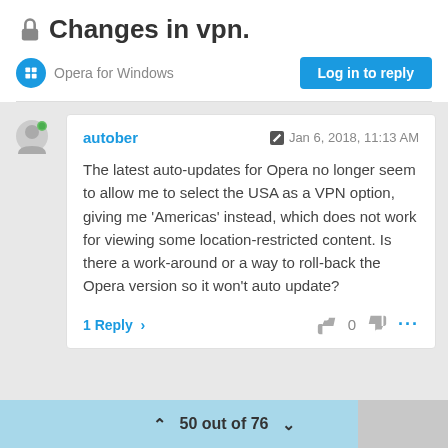🔒 Changes in vpn.
Opera for Windows
Log in to reply
autober
Jan 6, 2018, 11:13 AM
The latest auto-updates for Opera no longer seem to allow me to select the USA as a VPN option, giving me 'Americas' instead, which does not work for viewing some location-restricted content. Is there a work-around or a way to roll-back the Opera version so it won't auto update?
1 Reply >
0
50 out of 76